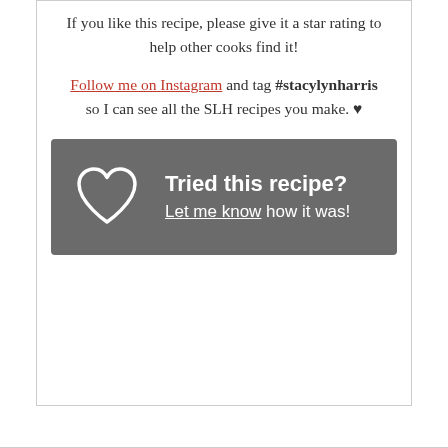If you like this recipe, please give it a star rating to help other cooks find it!
Follow me on Instagram and tag #stacylynharris so I can see all the SLH recipes you make. ♥
[Figure (infographic): Dark gray box with a heart outline icon on the left and text 'Tried this recipe? Let me know how it was!' on the right, white text on gray background.]